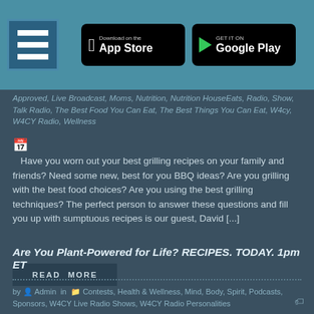Download on the App Store | GET IT ON Google Play
Approved, Live Broadcast, Moms, Nutrition, Nutrition HouseEats, Radio, Show, Talk Radio, The Best Food You Can Eat, The Best Things You Can Eat, W4cy, W4CY Radio, Wellness
Have you worn out your best grilling recipes on your family and friends? Need some new, best for you BBQ ideas? Are you grilling with the best food choices? Are you using the best grilling techniques? The perfect person to answer these questions and fill you up with sumptuous recipes is our guest, David [...]
READ MORE
Are You Plant-Powered for Life? RECIPES. TODAY. 1pm ET
by Admin in Contests, Health & Wellness, Mind, Body, Spirit, Podcasts, Sponsors, W4CY Live Radio Shows, W4CY Radio Personalities